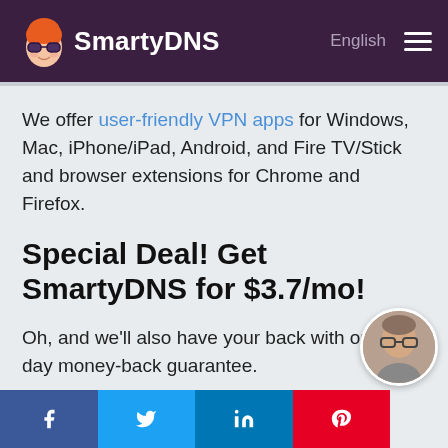[Figure (logo): SmartyDNS logo with mascot character wearing sunglasses and navigation bar with English language selector and hamburger menu]
We offer user-friendly VPN apps for Windows, Mac, iPhone/iPad, Android, and Fire TV/Stick and browser extensions for Chrome and Firefox.
Special Deal! Get SmartyDNS for $3.7/mo!
Oh, and we'll also have your back with our 30-day money-back guarantee.
[Figure (photo): Circular avatar photo of a man with glasses]
[Figure (infographic): Social share buttons: Facebook, Twitter, LinkedIn, Pinterest]